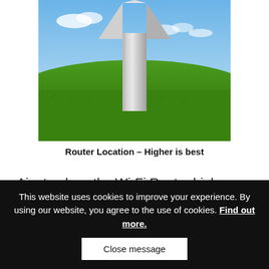[Figure (photo): A large white 3D arrow pointing upward, standing on a green grassy field under a blue sky with clouds — illustrating that router placement should be higher.]
Router Location – Higher is best
Aim to place the Wi-Fi Router higher up and try to minimize the number of potential barriers (e.g.
This website uses cookies to improve your experience. By using our website, you agree to the use of cookies. Find out more.
Close message